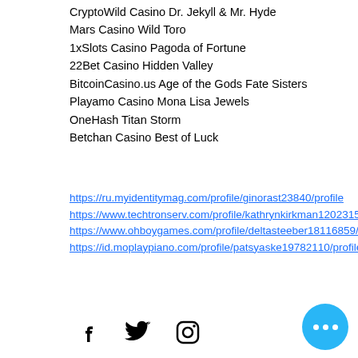CryptoWild Casino Dr. Jekyll & Mr. Hyde
Mars Casino Wild Toro
1xSlots Casino Pagoda of Fortune
22Bet Casino Hidden Valley
BitcoinCasino.us Age of the Gods Fate Sisters
Playamo Casino Mona Lisa Jewels
OneHash Titan Storm
Betchan Casino Best of Luck
https://ru.myidentitymag.com/profile/ginorast23840/profile https://www.techtronserv.com/profile/kathrynkirkman12023155/profile https://www.ohboygames.com/profile/deltasteeber18116859/profile https://id.moplaypiano.com/profile/patsyaske19782110/profile
[Figure (infographic): Social media icons: Facebook, Twitter, Instagram. A blue circular button with three dots (more options) in the bottom right.]